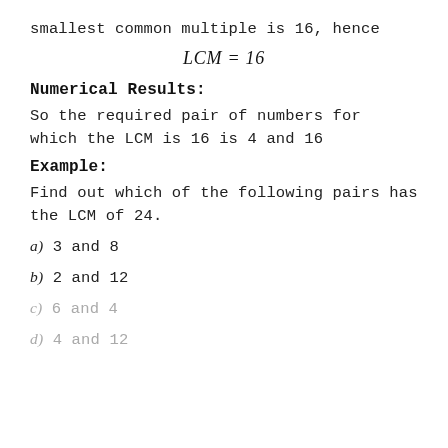smallest common multiple is 16, hence
Numerical Results:
So the required pair of numbers for which the LCM is 16 is 4 and 16
Example:
Find out which of the following pairs has the LCM of 24.
a) 3 and 8
b) 2 and 12
c) 6 and 4
d) 4 and 12